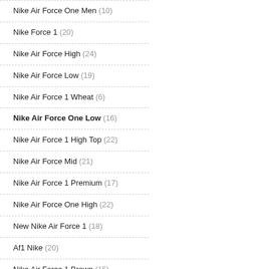Nike Air Force One Men (10)
Nike Force 1 (20)
Nike Air Force High (24)
Nike Air Force Low (19)
Nike Air Force 1 Wheat (6)
Nike Air Force One Low (16)
Nike Air Force 1 High Top (22)
Nike Air Force Mid (21)
Nike Air Force 1 Premium (17)
Nike Air Force One High (22)
New Nike Air Force 1 (18)
Af1 Nike (20)
Nike Air Force 1 Brown (15)
Nike Air Force One Black (16)
Nike Air Force Red (15)
Nike Air Force Brown (17)